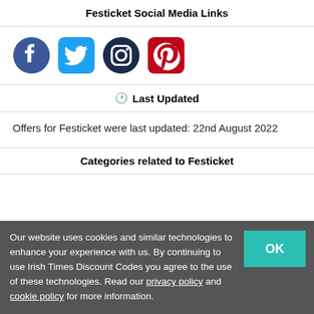Festicket Social Media Links
[Figure (illustration): Row of four social media icons: Facebook (dark blue circle), Twitter (light blue rounded square), Instagram (dark blue circle outline), Pinterest (red rounded square)]
🕐 Last Updated
Offers for Festicket were last updated: 22nd August 2022
Categories related to Festicket
Our website uses cookies and similar technologies to enhance your experience with us. By continuing to use Irish Times Discount Codes you agree to the use of these technologies. Read our privacy policy and cookie policy for more information.